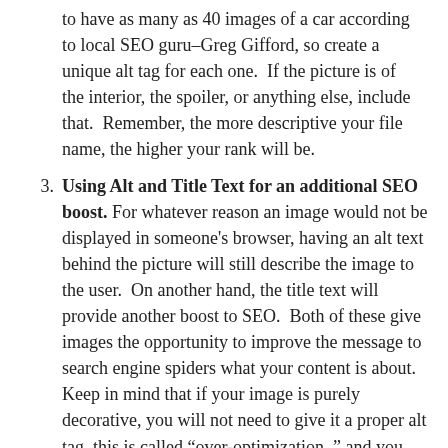to have as many as 40 images of a car according to local SEO guru–Greg Gifford, so create a unique alt tag for each one.  If the picture is of the interior, the spoiler, or anything else, include that.  Remember, the more descriptive your file name, the higher your rank will be.
3. Using Alt and Title Text for an additional SEO boost. For whatever reason an image would not be displayed in someone's browser, having an alt text behind the picture will still describe the image to the user.  On another hand, the title text will provide another boost to SEO.  Both of these give images the opportunity to improve the message to search engine spiders what your content is about.  Keep in mind that if your image is purely decorative, you will not need to give it a proper alt tag, this is called “over-optimization, ” and you could be penalized for it.